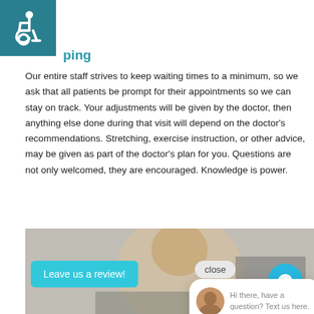[Figure (illustration): Accessibility wheelchair icon on teal background, top-left corner]
ping
Our entire staff strives to keep waiting times to a minimum, so we ask that all patients be prompt for their appointments so we can stay on track. Your adjustments will be given by the doctor, then anything else done during that visit will depend on the doctor's recommendations. Stretching, exercise instruction, or other advice, may be given as part of the doctor's plan for you. Questions are not only welcomed, they are encouraged. Knowledge is power.
We consistently update and customize your wellness progra foundation for our ov ll h lth i d nutritious foods, reg variety of stress relie
[Figure (screenshot): Chat popup widget with 'close' button and message 'Hi there, have a question? Text us here.' with avatar photo]
[Figure (photo): Bottom image area showing a woman working at a desk, partially visible]
Leave us a review!